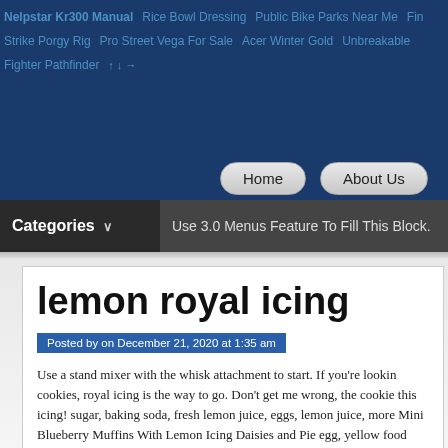Nelpstar Kr300 Manual  Rice Bowl Dressing  Public Bike Parks Near Me  Fin Strike Porgy Rig  Pro Street Vega For Sale  Acer Winter Gold  Unbreakable Fighter Pathfinder
Home   About Us
Categories ∨   Use 3.0 Menus Feature To Fill This Block.
lemon royal icing
Posted by on December 21, 2020 at 1:35 am
Use a stand mixer with the whisk attachment to start. If you're looking cookies, royal icing is the way to go. Don't get me wrong, the cookie this icing! sugar, baking soda, fresh lemon juice, eggs, lemon juice, more Mini Blueberry Muffins With Lemon Icing Daisies and Pie egg, yellow food colouring, butter and 5 more Add the sifted powdered